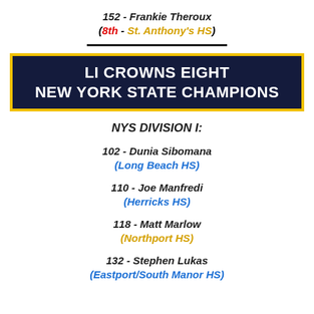152 - Frankie Theroux
(8th - St. Anthony's HS)
LI CROWNS EIGHT NEW YORK STATE CHAMPIONS
NYS DIVISION I:
102 - Dunia Sibomana
(Long Beach HS)
110 - Joe Manfredi
(Herricks HS)
118 - Matt Marlow
(Northport HS)
132 - Stephen Lukas
(Eastport/South Manor HS)